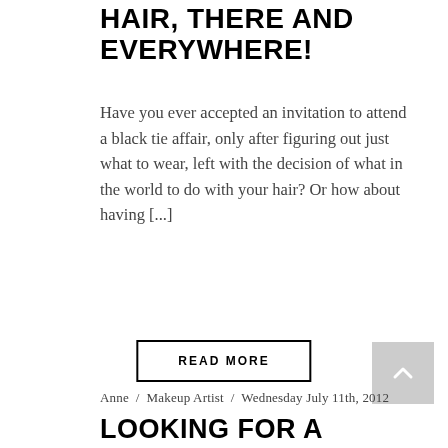HAIR, THERE AND EVERYWHERE!
Have you ever accepted an invitation to attend a black tie affair, only after figuring out just what to wear, left with the decision of what in the world to do with your hair? Or how about having [...]
READ MORE
Anne / Makeup Artist / Wednesday July 11th, 2012
LOOKING FOR A MAKEUP PRO?